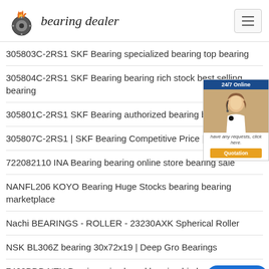bearing dealer
305803C-2RS1 SKF Bearing specialized bearing top bearing
305804C-2RS1 SKF Bearing bearing rich stock best selling bearing
305801C-2RS1 SKF Bearing authorized bearing buy bearing
305807C-2RS1 | SKF Bearing Competitive Price | SKF Congo
722082110 INA Bearing bearing online store bearing sale
NANFL206 KOYO Bearing Huge Stocks bearing bearing marketplace
Nachi BEARINGS - ROLLER - 23230AXK Spherical Roller
NSK BL306Z bearing 30x72x19 | Deep Groove Ball Bearings
7409BDB NTN Bearing price brand bearing big bearing